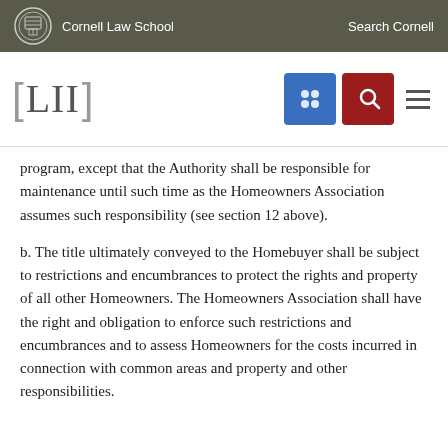Cornell Law School   Search Cornell
[Figure (logo): LII Legal Information Institute logo with Cornell seal and navigation icons]
program, except that the Authority shall be responsible for maintenance until such time as the Homeowners Association assumes such responsibility (see section 12 above).
b. The title ultimately conveyed to the Homebuyer shall be subject to restrictions and encumbrances to protect the rights and property of all other Homeowners. The Homeowners Association shall have the right and obligation to enforce such restrictions and encumbrances and to assess Homeowners for the costs incurred in connection with common areas and property and other responsibilities.